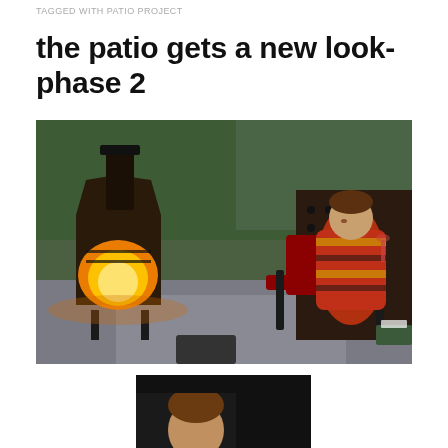TAGGED WITH PATIO PROJECT
the patio gets a new look- phase 2
[Figure (photo): Person sitting in a reclining chair on a patio at dusk, wrapped in a red and yellow plaid blanket, holding a wine glass. A glowing chiminea fire pit is burning to the left. Green foliage in background, dark decorative privacy screen behind the chair.]
[Figure (photo): Partial second photo visible at bottom of page, showing a person partially visible against a dark background.]